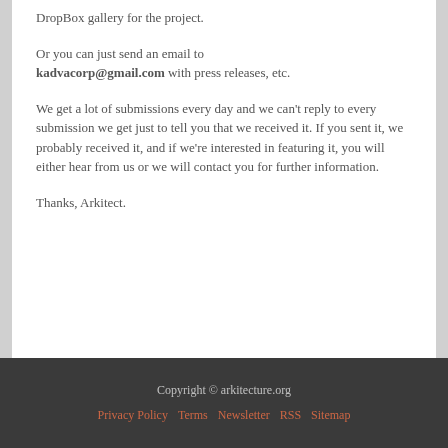DropBox gallery for the project.
Or you can just send an email to kadvacorp@gmail.com with press releases, etc.
We get a lot of submissions every day and we can't reply to every submission we get just to tell you that we received it. If you sent it, we probably received it, and if we're interested in featuring it, you will either hear from us or we will contact you for further information.
Thanks, Arkitect.
Copyright © arkitecture.org  Privacy Policy  Terms  Newsletter  RSS  Sitemap